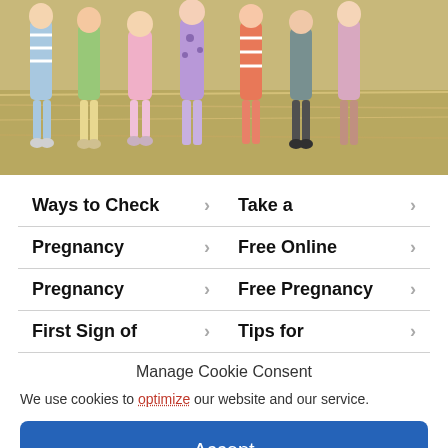[Figure (photo): Row of colorful stuffed animal dolls/toys lying on straw/hay background]
Ways to Check >
Take a >
Pregnancy >
Free Online >
Pregnancy >
Free Pregnancy >
First Sign of >
Tips for >
Manage Cookie Consent
We use cookies to optimize our website and our service.
Accept